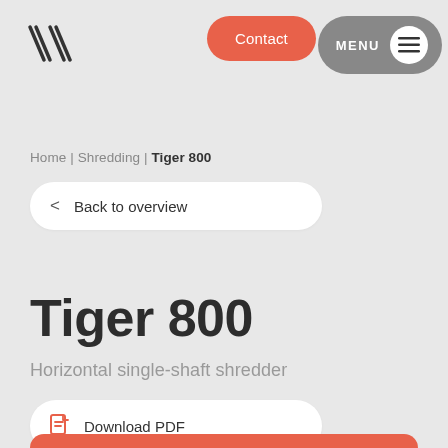[Figure (logo): Stylized double-slash logo mark in dark outline]
Contact
MENU
Home | Shredding | Tiger 800
< Back to overview
Tiger 800
Horizontal single-shaft shredder
Download PDF